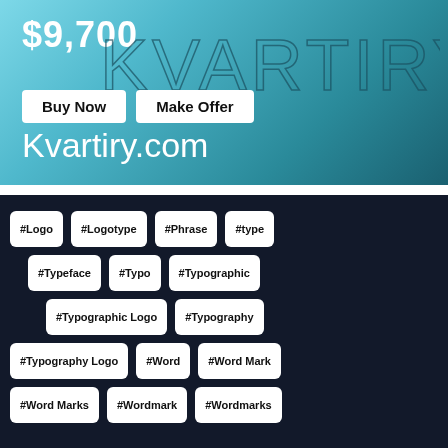[Figure (screenshot): Domain listing for Kvartiry.com showing price $9,700, Buy Now and Make Offer buttons, KVARTIRY logo text in cyan gradient banner]
Kvartiry.com
#Logo
#Logotype
#Phrase
#type
#Typeface
#Typo
#Typographic
#Typographic Logo
#Typography
#Typography Logo
#Word
#Word Mark
#Word Marks
#Wordmark
#Wordmarks